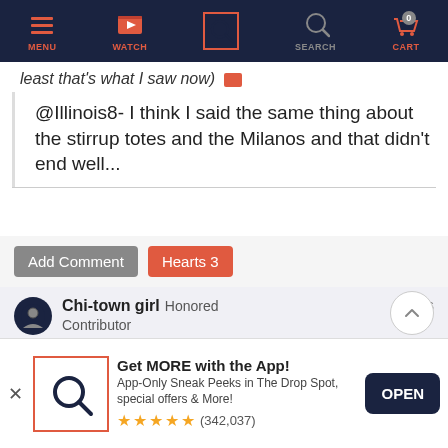[Figure (screenshot): Top navigation bar with icons: MENU (hamburger), WATCH (video icon), search/Q icon (highlighted with red box, active), SEARCH (magnifier), CART (shopping cart with 0 badge)]
least that's what I saw now)
@Illinois8- I think I said the same thing about the stirrup totes and the Milanos and that didn't end well...
Add Comment   Hearts 3
Chi-town girl Honored
Contributor
4/6/16
[Figure (screenshot): App download banner: logo box with Q icon, 'Get MORE with the App! App-Only Sneak Peeks in The Drop Spot, special offers & More!' with 5-star rating (342,037 reviews) and OPEN button]